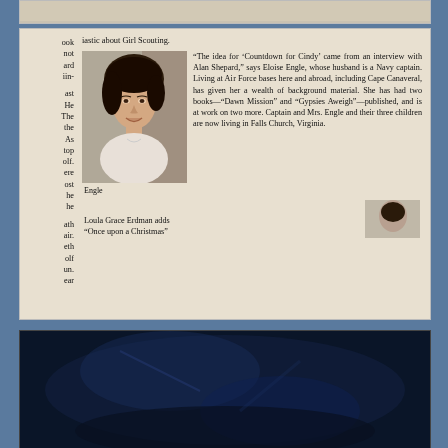[Figure (photo): Top clipped portion of a magazine or newspaper page, partially visible at top of scan]
iastic about Girl Scouting.
"The idea for 'Countdown for Cindy' came from an interview with Alan Shepard," says Eloise Engle, whose husband is a Navy captain. Living at Air Force bases here and abroad, including Cape Canaveral, has given her a wealth of background material. She has had two books—"Dawn Mission" and "Gypsies Aweigh"—published, and is at work on two more. Captain and Mrs. Engle and their three children are now living in Falls Church, Virginia.
Engle
Loula Grace Erdman adds
"Once upon a Christmas"
[Figure (photo): Dark blue/black photograph, mostly obscured, at bottom of page scan]